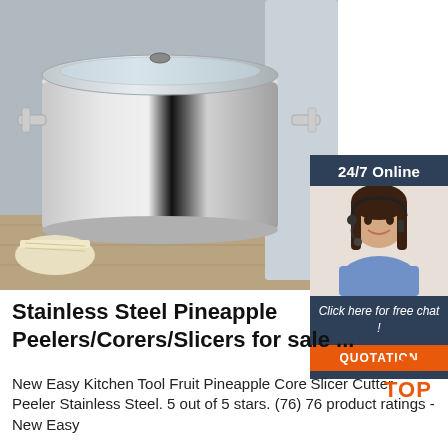[Figure (photo): Stainless steel stock pot with glass lid and handles on a wooden surface, with vegetables in background. Overlaid with a 24/7 online chat widget showing a customer service representative.]
Stainless Steel Pineapple Peelers/Corers/Slicers for sale ...
New Easy Kitchen Tool Fruit Pineapple Corer Slicer Cutter Peeler Stainless Steel. 5 out of 5 stars. (76) 76 product ratings - New Easy